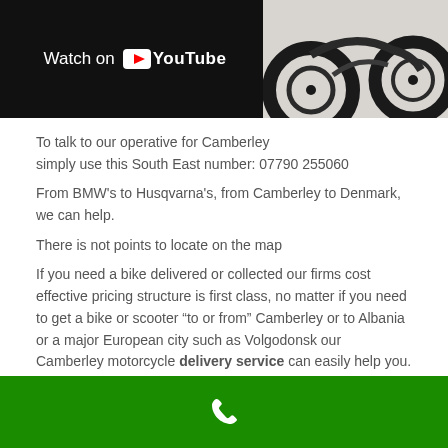[Figure (screenshot): YouTube video thumbnail showing 'Watch on YouTube' banner over a dark background with a motorcycle wheel visible on the right side]
To talk to our operative for Camberley simply use this South East number: 07790 255060
From BMW's to Husqvarna's, from Camberley to Denmark, we can help.
There is not points to locate on the map
If you need a bike delivered or collected our firms cost effective pricing structure is first class, no matter if you need to get a bike or scooter “to or from” Camberley or to Albania or a major European city such as Volgodonsk our Camberley motorcycle delivery service can easily help you.
Local Bike Transportation:
Motorcycle Transportation Service Camberley Surrey GU15 2QN Need to move a Benelli? Camberley Surrey is where we
[Figure (other): Green footer bar with a white phone icon]